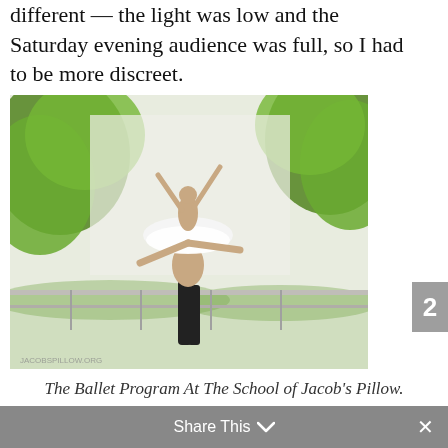different — the light was low and the Saturday evening audience was full, so I had to be more discreet.
[Figure (photo): A male and female ballet dancer performing a lift outdoors on a deck or terrace surrounded by lush green trees. The female dancer is in a white tutu with arms raised gracefully while the male dancer, shirtless with black tights, holds her aloft.]
The Ballet Program At The School of Jacob's Pillow.
Share This ∨  ×